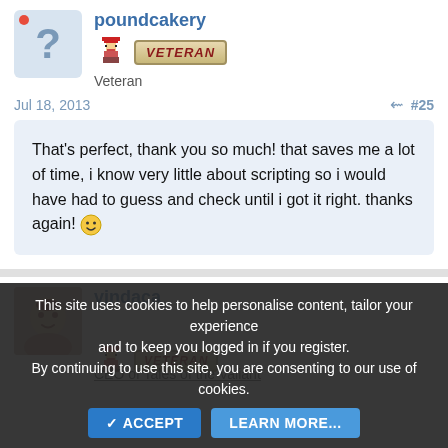poundcakery
Veteran
Jul 18, 2013  #25
That's perfect, thank you so much! that saves me a lot of time, i know very little about scripting so i would have had to guess and check until i got it right. thanks again! 🙂
vindaca
CEO of Tales of the Valiant
This site uses cookies to help personalise content, tailor your experience and to keep you logged in if you register. By continuing to use this site, you are consenting to our use of cookies.